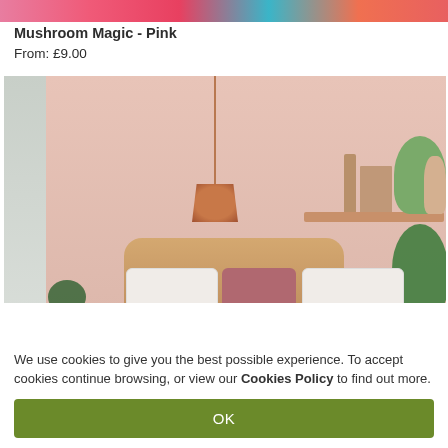[Figure (photo): Colorful product image strip at the top (pink mushroom illustration)]
Mushroom Magic - Pink
From: £9.00
[Figure (photo): Pink bedroom interior with rattan headboard, pendant copper lamp, floating shelf with decor, and plants]
We use cookies to give you the best possible experience. To accept cookies continue browsing, or view our Cookies Policy to find out more.
OK